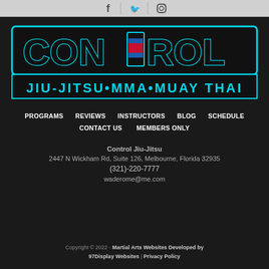[Figure (logo): Social media icons (Facebook, Twitter/X, Instagram) in top bar]
[Figure (logo): Control Jiu-Jitsu MMA Muay Thai logo with cyan/teal lettering on dark background]
PROGRAMS
REVIEWS
INSTRUCTORS
BLOG
SCHEDULE
CONTACT US
MEMBERS ONLY
Control Jiu-Jitsu
2447 N Wickham Rd, Suite 126, Melbourne, Florida 32935
(321)-220-7777
waderome@me.com
Copyright © 2022 - Martial Arts Websites Developed by 97Display Websites | Privacy Policy